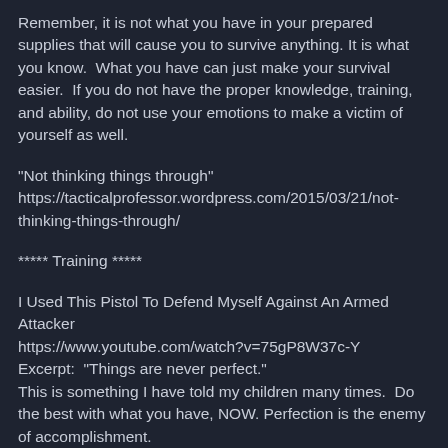Remember, it is not what you have in your prepared supplies that will cause you to survive anything. It is what you know.  What you have can just make your survival easier.  If you do not have the proper knowledge, training, and ability, do not use your emotions to make a victim of yourself as well.
"Not thinking things through"
https://tacticalprofessor.wordpress.com/2015/03/21/not-thinking-things-through/
***** Training *****
I Used This Pistol To Defend Myself Against An Armed Attacker
https://www.youtube.com/watch?v=75gP8W37c-Y
Excerpt:  "Things are never perfect."
This is something I have told my children many times.  Do the best with what you have, NOW. Perfection is the enemy of accomplishment.